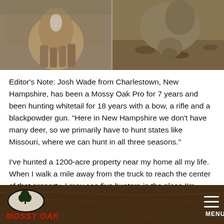[Figure (photo): Two deer photographed outdoors, one on the left showing body/fur and one on the right facing downward toward the ground with leaves visible]
Editor's Note: Josh Wade from Charlestown, New Hampshire, has been a Mossy Oak Pro for 7 years and been hunting whitetail for 18 years with a bow, a rifle and a blackpowder gun. “Here in New Hampshire we don’t have many deer, so we primarily have to hunt states like Missouri, where we can hunt in all three seasons.”
I’ve hunted a 1200-acre property near my home all my life. When I walk a mile away from the truck to reach the center of that property, I may see five hunters in the place I’m hunting. To reach that spot, I may have to walk 30 minutes to an hour and realize if I take a deer down there, I’ll probably
MOSSY OAK  MENU